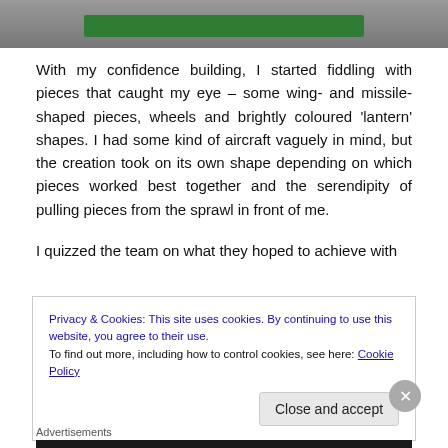[Figure (photo): Partial photo showing a green bar/object on a light surface, cropped at top]
With my confidence building, I started fiddling with pieces that caught my eye – some wing- and missile-shaped pieces, wheels and brightly coloured 'lantern' shapes. I had some kind of aircraft vaguely in mind, but the creation took on its own shape depending on which pieces worked best together and the serendipity of pulling pieces from the sprawl in front of me.
I quizzed the team on what they hoped to achieve with
Privacy & Cookies: This site uses cookies. By continuing to use this website, you agree to their use.
To find out more, including how to control cookies, see here: Cookie Policy
Close and accept
Advertisements